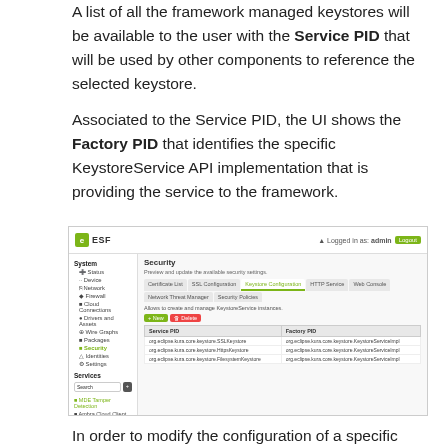A list of all the framework managed keystores will be available to the user with the Service PID that will be used by other components to reference the selected keystore.
Associated to the Service PID, the UI shows the Factory PID that identifies the specific KeystoreService API implementation that is providing the service to the framework.
[Figure (screenshot): Screenshot of ESF web UI showing the Security section with Keystore Configuration tab open. A table lists Service PID and Factory PID entries for three keystore implementations. The left sidebar shows navigation including System, Services sections.]
In order to modify the configuration of a specific keystore